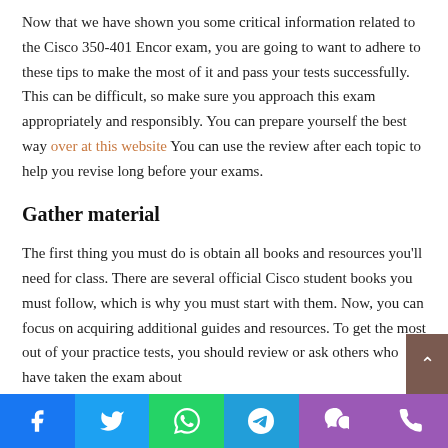Now that we have shown you some critical information related to the Cisco 350-401 Encor exam, you are going to want to adhere to these tips to make the most of it and pass your tests successfully. This can be difficult, so make sure you approach this exam appropriately and responsibly. You can prepare yourself the best way over at this website You can use the review after each topic to help you revise long before your exams.
Gather material
The first thing you must do is obtain all books and resources you'll need for class. There are several official Cisco student books you must follow, which is why you must start with them. Now, you can focus on acquiring additional guides and resources. To get the most out of your practice tests, you should review or ask others who have taken the exam about